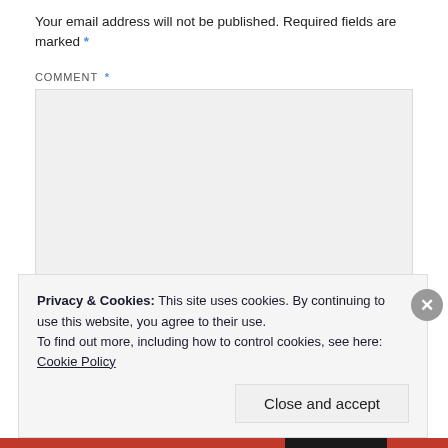Your email address will not be published. Required fields are marked *
COMMENT *
[Figure (other): Empty comment textarea input box with light grey background]
Privacy & Cookies: This site uses cookies. By continuing to use this website, you agree to their use.
To find out more, including how to control cookies, see here:
Cookie Policy
Close and accept